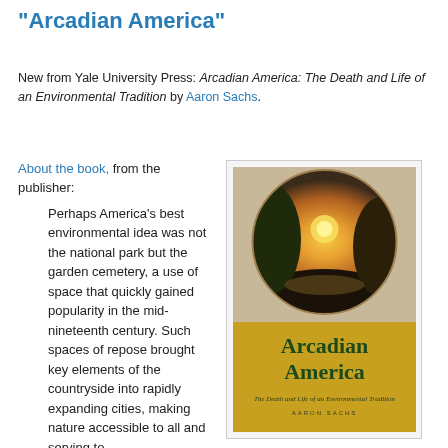"Arcadian America"
New from Yale University Press: Arcadian America: The Death and Life of an Environmental Tradition by Aaron Sachs.
About the book, from the publisher:
Perhaps America's best environmental idea was not the national park but the garden cemetery, a use of space that quickly gained popularity in the mid-nineteenth century. Such spaces of repose brought key elements of the countryside into rapidly expanding cities, making nature accessible to all and serving to
[Figure (illustration): Book cover of Arcadian America: The Death and Life of an Environmental Tradition by Aaron Sachs, published by Yale University Press. Shows a circular landscape painting of a pastoral wilderness scene at sunset over a golden yellow lower half with the title text.]